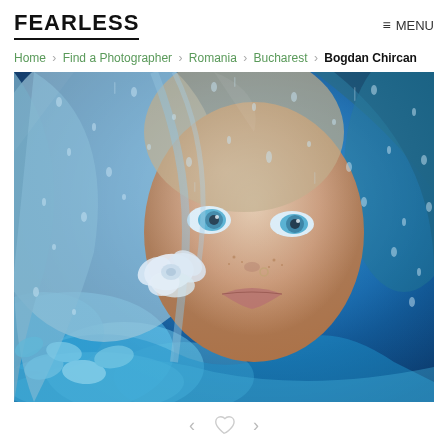FEARLESS
≡ MENU
Home › Find a Photographer › Romania › Bucharest › Bogdan Chircan
[Figure (photo): A woman with blue eyes and wavy blonde/blue hair holds a white rose. She is photographed through a rain-droplet-covered glass pane against a vivid blue background with blue flowers and swirling smoke or ink.]
< ♡ >